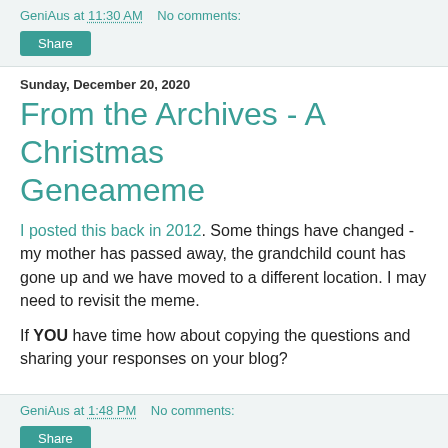GeniAus at 11:30 AM   No comments:
Share
Sunday, December 20, 2020
From the Archives - A Christmas Geneameme
I posted this back in 2012. Some things have changed - my mother has passed away, the grandchild count has gone up and we have moved to a different location. I may need to revisit the meme.
If YOU have time how about copying the questions and sharing your responses on your blog?
GeniAus at 1:48 PM   No comments:
Share